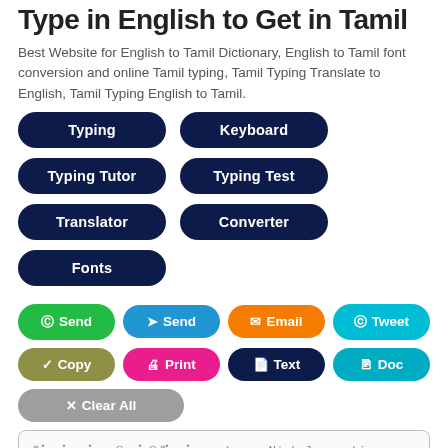Type in English to Get in Tamil
Best Website for English to Tamil Dictionary, English to Tamil font conversion and online Tamil typing, Tamil Typing Translate to English, Tamil Typing English to Tamil.
Typing
Keyboard
Typing Tutor
Typing Test
Translator
Converter
Fonts
Send (WhatsApp)
Send (Telegram)
Email
Tweet
Copy
Print
Text
Doc
Clear All
நீங்கள் எப்படியிருக்கிறீர்கள்... (e.g. Ninkal eppati irukkirirkal?)